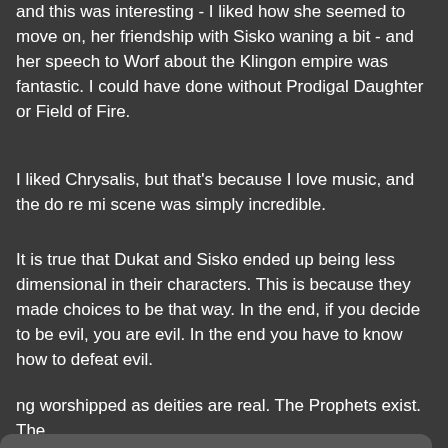and this was interesting - I liked how she seemed to move on, her friendship with Sisko waning a bit - and her speech to Worf about the Klingon empire was fantastic. I could have done without Prodigal Daughter or Field of Fire.
I liked Chrysalis, but that's because I love music, and the do re mi scene was simply incredible.
It is true that Dukat and Sisko ended up being less dimensional in their characters. This is because they made choices to be that way. In the end, if you decide to be evil, you are evil. In the end you have to know how to defeat evil.
This site uses cookies to enhance functionality. By using this site, you agree to the cookie policy and other terms of use. Learn more
Agree
iously up for
ng worshipped as deities are real. The Prophets exist. The